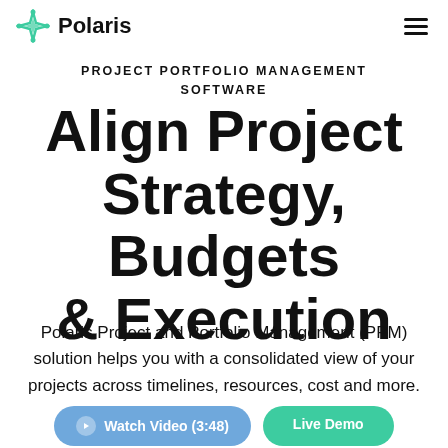Polaris
PROJECT PORTFOLIO MANAGEMENT SOFTWARE
Align Project Strategy, Budgets & Execution
Polaris Project and Portfolio Management (PPM) solution helps you with a consolidated view of your projects across timelines, resources, cost and more.
Watch Video (3:48)   Live Demo